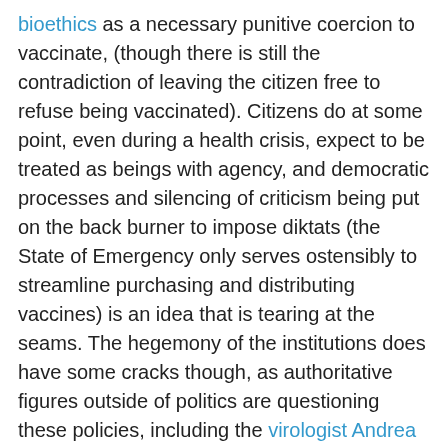bioethics as a necessary punitive coercion to vaccinate, (though there is still the contradiction of leaving the citizen free to refuse being vaccinated). Citizens do at some point, even during a health crisis, expect to be treated as beings with agency, and democratic processes and silencing of criticism being put on the back burner to impose diktats (the State of Emergency only serves ostensibly to streamline purchasing and distributing vaccines) is an idea that is tearing at the seams. The hegemony of the institutions does have some cracks though, as authoritative figures outside of politics are questioning these policies, including the virologist Andrea Cristanti, who stated, “After two years, the State of Emergency has become the ordinary state, and this is not acceptable, this demonstrates that they haven't understood us well enough.”